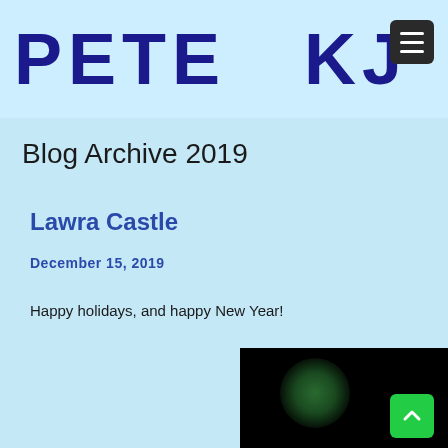PETE KJ
Blog Archive 2019
Lawra Castle
December 15, 2019
Happy holidays, and happy New Year!
[Figure (photo): Dark image with a glowing green circular shape, partially visible at bottom of page]